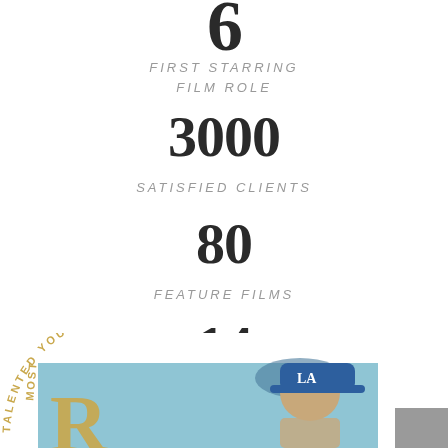6
FIRST STARRING
FILM ROLE
3000
SATISFIED CLIENTS
80
FEATURE FILMS
14
AWARDS
[Figure (photo): Bottom portion shows a curved text badge reading 'TALENTED YOU...' and a partial photo of a person wearing a blue LA Dodgers cap, with a gray square in the bottom right corner]